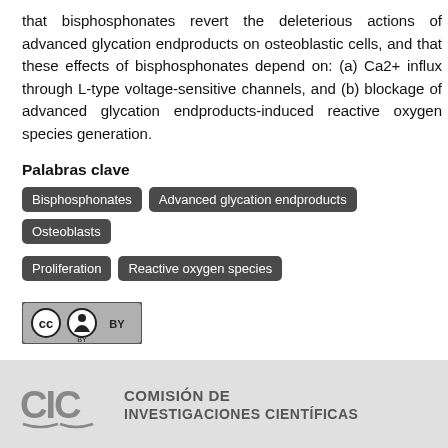that bisphosphonates revert the deleterious actions of advanced glycation endproducts on osteoblastic cells, and that these effects of bisphosphonates depend on: (a) Ca2+ influx through L-type voltage-sensitive channels, and (b) blockage of advanced glycation endproducts-induced reactive oxygen species generation.
Palabras clave
Bisphosphonates
Advanced glycation endproducts
Osteoblasts
Proliferation
Reactive oxygen species
[Figure (logo): Creative Commons BY license logo — CC BY badge in grey/black]
Esta obra se publica con la licencia Creative Commons Attribution 4.0 International (BY 4.0)
Página completa del ítem
COMISIÓN DE INVESTIGACIONES CIENTÍFICAS